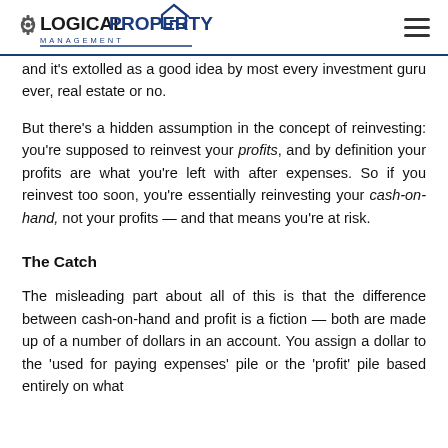Logical Property Management
and it's extolled as a good idea by most every investment guru ever, real estate or no.
But there's a hidden assumption in the concept of reinvesting: you're supposed to reinvest your profits, and by definition your profits are what you're left with after expenses. So if you reinvest too soon, you're essentially reinvesting your cash-on-hand, not your profits — and that means you're at risk.
The Catch
The misleading part about all of this is that the difference between cash-on-hand and profit is a fiction — both are made up of a number of dollars in an account. You assign a dollar to the 'used for paying expenses' pile or the 'profit' pile based entirely on what